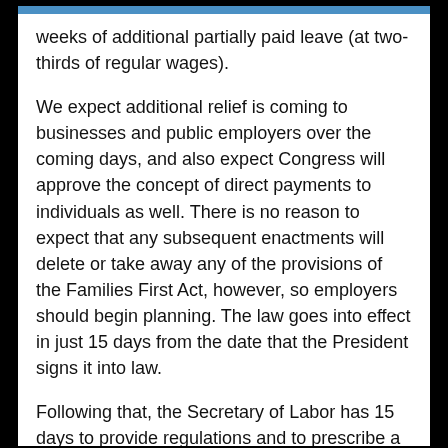weeks of additional partially paid leave (at two-thirds of regular wages).
We expect additional relief is coming to businesses and public employers over the coming days, and also expect Congress will approve the concept of direct payments to individuals as well. There is no reason to expect that any subsequent enactments will delete or take away any of the provisions of the Families First Act, however, so employers should begin planning. The law goes into effect in just 15 days from the date that the President signs it into law.
Following that, the Secretary of Labor has 15 days to provide regulations and to prescribe a required notice that all covered employers must post in their workplaces. We will keep an eye out for any regulations and required posters, which employers will need to post